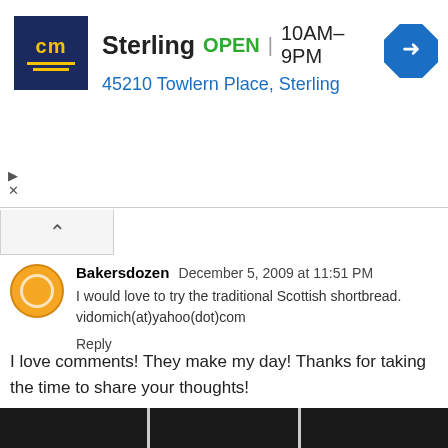[Figure (screenshot): Advertisement banner for 'Sterling' store showing CM logo, OPEN status, hours 10AM-9PM, address 45210 Towlern Place Sterling, and a blue direction icon]
Bakersdozen December 5, 2009 at 11:51 PM
I would love to try the traditional Scottish shortbread. vidomich(at)yahoo(dot)com
Reply
Enter Comment
I love comments! They make my day! Thanks for taking the time to share your thoughts!